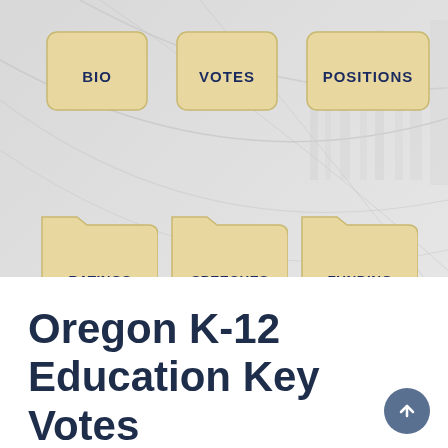[Figure (screenshot): Website navigation folder icons: BIO, VOTES, POSITIONS (top row); RATINGS, SPEECHES, FUNDING (bottom row) on a gray background with decorative curved lines]
OFFICIALS  LEGISLATION  INTEREST GROUPS  PUBLIC STATI...
Oregon K-12 Education Key Votes